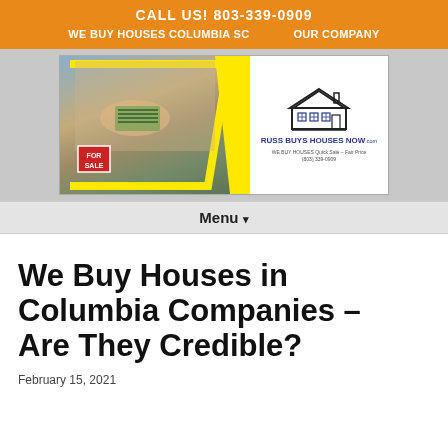CALL US! 803-339-0909
WE BUY HOUSES COLUMBIA SC   OUR COMPANY
[Figure (photo): Banner image showing hands exchanging house keys and cash in front of a house, with a For Sale sign. Right side shows Russ Buys Houses Now logo with tagline 'WE BUY HOUSES Quick Sale - Fair Price (803) 339-0909']
Menu ▾
We Buy Houses in Columbia Companies – Are They Credible?
February 15, 2021